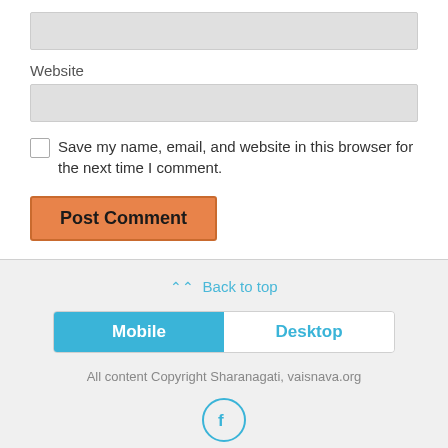Website
Save my name, email, and website in this browser for the next time I comment.
Post Comment
Back to top
Mobile
Desktop
All content Copyright Sharanagati, vaisnava.org
[Figure (logo): Facebook icon in a circle with cyan/light blue border]